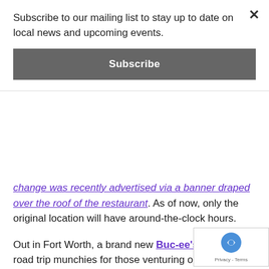Subscribe to our mailing list to stay up to date on local news and upcoming events.
Subscribe
change was recently advertised via a banner draped over the roof of the restaurant. As of now, only the original location will have around-the-clock hours.
Out in Fort Worth, a brand new Buc-ee's is providing road trip munchies for those venturing out of the Metroplex. The new location, across from the Texas Motor Speedway, boasts 60,000 square feet of space, leaving plenty of room to stock up on Beaver Nuggets while you fill up your tank.
In craft beer news: North Texas is experiencing another craft beer boom, as 11 new breweries are set to hit the area this year. According to a Dallas Observer article, DFW will be home to such new ventures as Steam Theory Brewing Co. (a brewery opening in Lower Greenville) and a place called Manhattan Project Beer Co. in Addison. The list also mentioned the long-